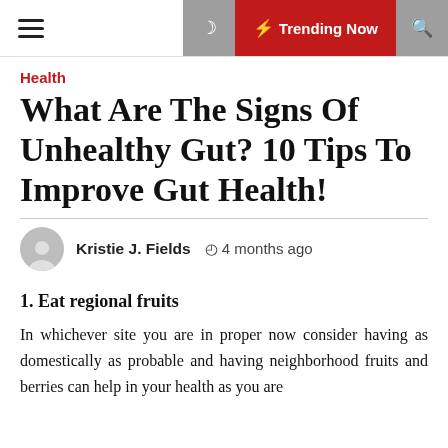≡  ☾  ⚡ Trending Now  🔍
Health
What Are The Signs Of Unhealthy Gut? 10 Tips To Improve Gut Health!
Kristie J. Fields   ⏱ 4 months ago
1. Eat regional fruits
In whichever site you are in proper now consider having as domestically as probable and having neighborhood fruits and berries can help in your health as you are collecting the best type of nutrition and have a good...